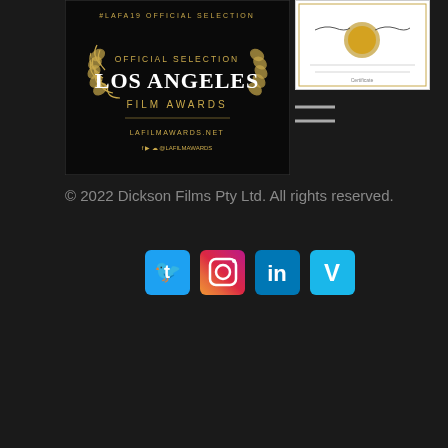[Figure (illustration): Los Angeles Film Awards Official Selection badge - black background with gold laurel wreath and text: #LAFA19 OFFICIAL SELECTION, OFFICIAL SELECTION LOS ANGELES FILM AWARDS, LAFILMAWARDS.NET]
[Figure (photo): A certificate/award document with signatures and a gold seal, white background with decorative border]
[Figure (illustration): Hamburger menu icon - two horizontal lines in gray/white on dark background]
© 2022 Dickson Films Pty Ltd. All rights reserved.
[Figure (illustration): Social media icons row: Twitter (blue bird icon), Instagram (gradient camera icon), LinkedIn (blue icon), Vimeo (blue V icon)]